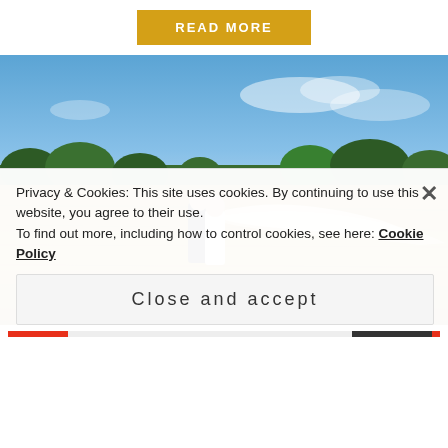[Figure (other): READ MORE button in golden/yellow color with white uppercase text]
[Figure (photo): Wedding photo of a couple standing in a golden wheat field under blue sky, bride's veil flowing in the wind, trees in background]
Privacy & Cookies: This site uses cookies. By continuing to use this website, you agree to their use.
To find out more, including how to control cookies, see here: Cookie Policy
Close and accept